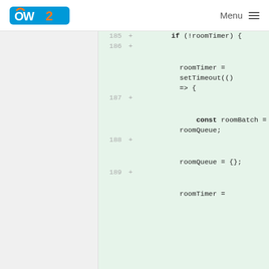OW2 | Menu
[Figure (screenshot): Code diff view showing lines 185-189 with added JavaScript code for roomTimer and roomQueue logic including if(!roomTimer), setTimeout arrow function, const roomBatch = roomQueue, roomQueue = {}, and roomTimer =]